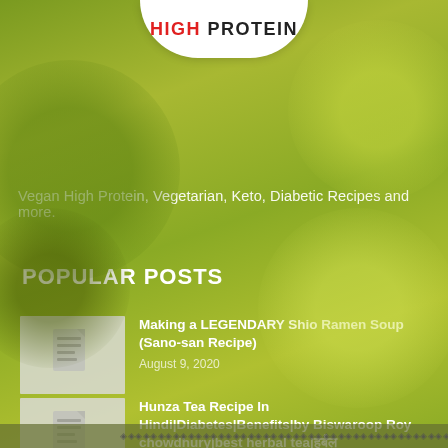[Figure (illustration): Website header/sidebar section with green vegetable background (broccoli, Brussels sprouts, grapes) and a white badge at top showing HIGH PROTEIN text]
HIGH PROTEIN
Vegan High Protein, Vegetarian, Keto, Diabetic Recipes and more.
POPULAR POSTS
Making a LEGENDARY Shio Ramen Soup (Sano-san Recipe)
August 9, 2020
Hunza Tea Recipe In Hindi|Diabetes|Benefits|by Biswaroop Roy chowdhury|best herbal tea|हर्बल
June 14, 2020